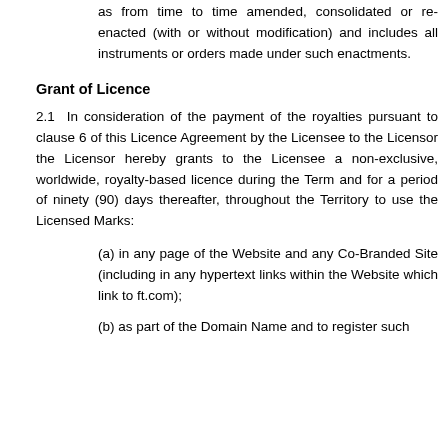(a) any reference to an enactment is a reference to it as from time to time amended, consolidated or re-enacted (with or without modification) and includes all instruments or orders made under such enactments.
Grant of Licence
2.1 In consideration of the payment of the royalties pursuant to clause 6 of this Licence Agreement by the Licensee to the Licensor the Licensor hereby grants to the Licensee a non-exclusive, worldwide, royalty-based licence during the Term and for a period of ninety (90) days thereafter, throughout the Territory to use the Licensed Marks:
(a) in any page of the Website and any Co-Branded Site (including in any hypertext links within the Website which link to ft.com);
(b) as part of the Domain Name and to register such